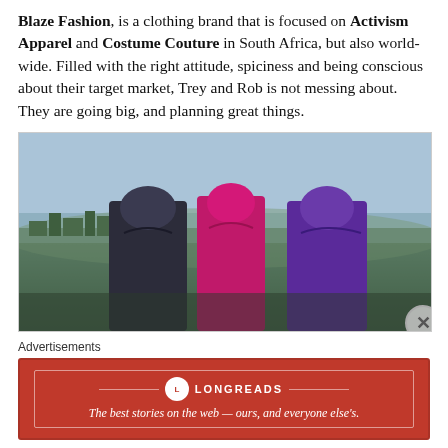Blaze Fashion, is a clothing brand that is focused on Activism Apparel and Costume Couture in South Africa, but also world-wide. Filled with the right attitude, spiciness and being conscious about their target market, Trey and Rob is not messing about. They are going big, and planning great things.
[Figure (photo): Three models seen from behind wearing shiny hooded outfits in dark silver/metallic, pink/magenta, and purple, standing outdoors with a city skyline visible in the background under a hazy sky.]
Advertisements
[Figure (other): Longreads advertisement banner in red. Logo circle with L, brand name LONGREADS, tagline: The best stories on the web — ours, and everyone else's.]